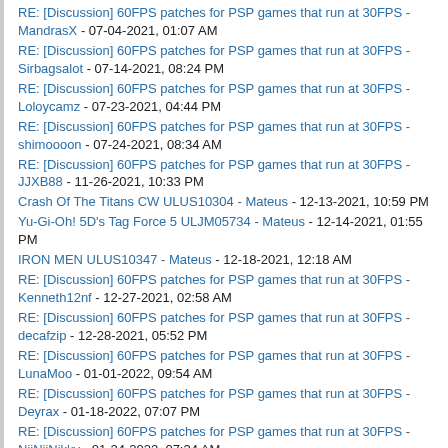RE: [Discussion] 60FPS patches for PSP games that run at 30FPS - MandrasX - 07-04-2021, 01:07 AM
RE: [Discussion] 60FPS patches for PSP games that run at 30FPS - Sirbagsalot - 07-14-2021, 08:24 PM
RE: [Discussion] 60FPS patches for PSP games that run at 30FPS - Loloycamz - 07-23-2021, 04:44 PM
RE: [Discussion] 60FPS patches for PSP games that run at 30FPS - shimoooon - 07-24-2021, 08:34 AM
RE: [Discussion] 60FPS patches for PSP games that run at 30FPS - JJXB88 - 11-26-2021, 10:33 PM
Crash Of The Titans CW ULUS10304 - Mateus - 12-13-2021, 10:59 PM
Yu-Gi-Oh! 5D's Tag Force 5 ULJM05734 - Mateus - 12-14-2021, 01:55 PM
IRON MEN ULUS10347 - Mateus - 12-18-2021, 12:18 AM
RE: [Discussion] 60FPS patches for PSP games that run at 30FPS - Kenneth12nf - 12-27-2021, 02:58 AM
RE: [Discussion] 60FPS patches for PSP games that run at 30FPS - decafzip - 12-28-2021, 05:52 PM
RE: [Discussion] 60FPS patches for PSP games that run at 30FPS - LunaMoo - 01-01-2022, 09:54 AM
RE: [Discussion] 60FPS patches for PSP games that run at 30FPS - Deyrax - 01-18-2022, 07:07 PM
RE: [Discussion] 60FPS patches for PSP games that run at 30FPS - NiiNiiNikky - 01-24-2022, 07:34 AM